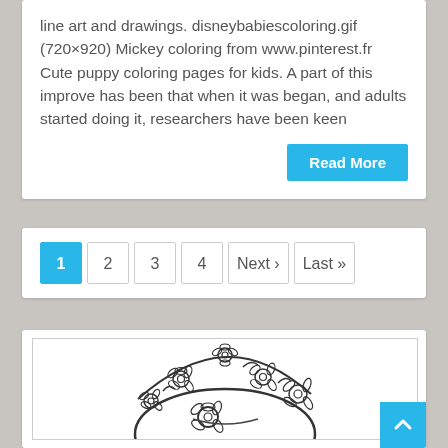line art and drawings. disneybabiescoloring.gif (720×920) Mickey coloring from www.pinterest.fr Cute puppy coloring pages for kids. A part of this improve has been that when it was began, and adults started doing it, researchers have been keen
Read More
1  2  3  4  Next ›  Last »
[Figure (illustration): Line art coloring page showing a character wearing a floral wreath/crown with daisy flowers]